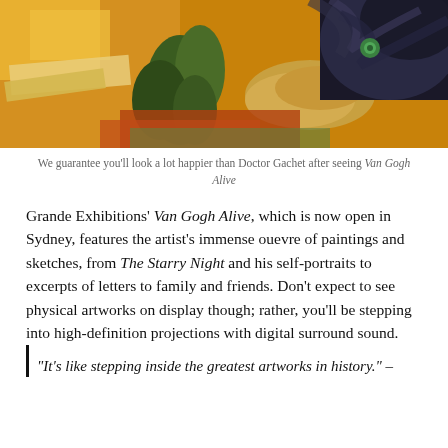[Figure (photo): Close-up crop of Van Gogh's 'Portrait of Doctor Gachet' painting showing vivid yellows, oranges, dark blues and greens with a hand visible]
We guarantee you'll look a lot happier than Doctor Gachet after seeing Van Gogh Alive
Grande Exhibitions' Van Gogh Alive, which is now open in Sydney, features the artist's immense ouevre of paintings and sketches, from The Starry Night and his self-portraits to excerpts of letters to family and friends. Don't expect to see physical artworks on display though; rather, you'll be stepping into high-definition projections with digital surround sound.
“It’s like stepping inside the greatest artworks in history.” –